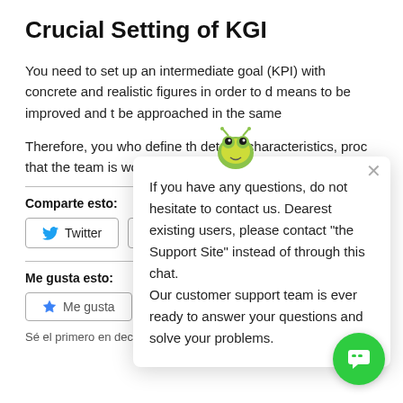Crucial Setting of KGI
You need to set up an intermediate goal (KPI) with concrete and realistic figures in order to d means to be improved and t be approached in the same
Therefore, you who define th details, characteristics, proc that the team is working on.
Comparte esto:
Twitter  Facebook
Me gusta esto:
Me gusta
Sé el primero en decir que te gusta.
[Figure (screenshot): Chat support popup overlay with avatar icon and close button, containing text: 'If you have any questions, do not hesitate to contact us. Dearest existing users, please contact "the Support Site" instead of through this chat. Our customer support team is ever ready to answer your questions and solve your problems.']
[Figure (other): Green circular chat support FAB button in bottom right corner]